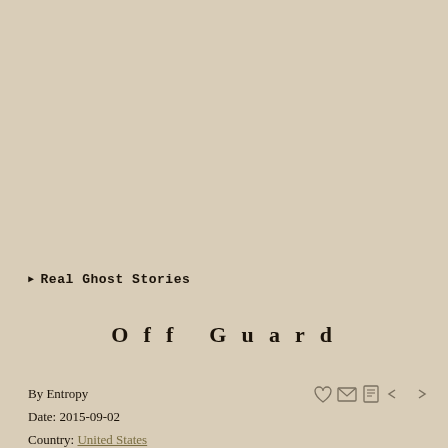▶ Real Ghost Stories
Off Guard
By Entropy
Date: 2015-09-02
Country: United States
State: California